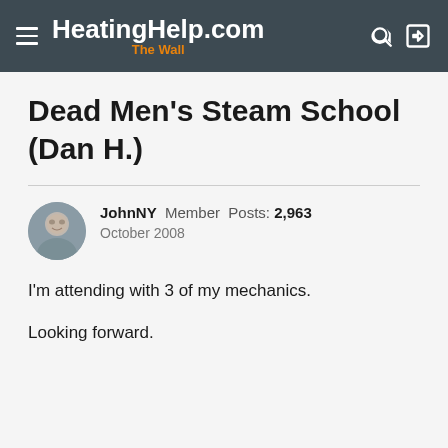HeatingHelp.com The Wall
Dead Men's Steam School (Dan H.)
JohnNY Member Posts: 2,963 October 2008
I'm attending with 3 of my mechanics.
Looking forward.